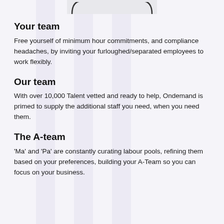[Figure (illustration): Bottom portion of a mobile phone/device frame visible at the top of the page]
Your team
Free yourself of minimum hour commitments, and compliance headaches, by inviting your furloughed/separated employees to work flexibly.
Our team
With over 10,000 Talent vetted and ready to help, Ondemand is primed to supply the additional staff you need, when you need them.
The A-team
‘Ma’ and ‘Pa’ are constantly curating labour pools, refining them based on your preferences, building your A-Team so you can focus on your business.